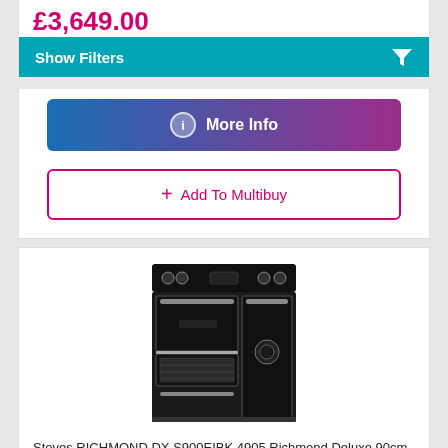£3,649.00
Show Filters
More Info
+ Add To Multibuy
[Figure (photo): Black Stoves Richmond DX S900EIBK range cooker with induction hob, two ovens and a storage drawer]
Stoves RICHMOND DX S900EIBK 4905 Richmond Deluxe 90cm Induction Range Cooker – BLACK
A  2 Year Warranty